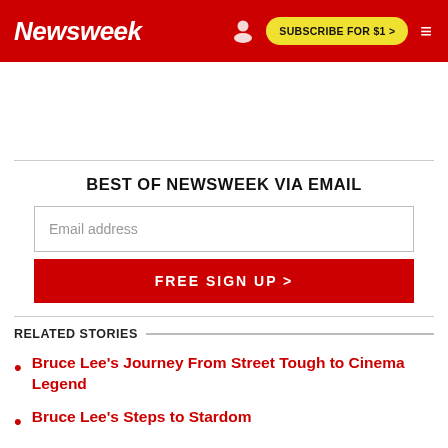Newsweek | SUBSCRIBE FOR $1 >
BEST OF NEWSWEEK VIA EMAIL
Email address
FREE SIGN UP >
RELATED STORIES
Bruce Lee's Journey From Street Tough to Cinema Legend
Bruce Lee's Steps to Stardom